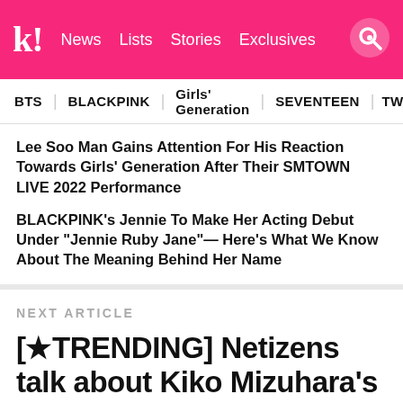k! News Lists Stories Exclusives
BTS   BLACKPINK   Girls' Generation   SEVENTEEN   TWICE
Lee Soo Man Gains Attention For His Reaction Towards Girls' Generation After Their SMTOWN LIVE 2022 Performance
BLACKPINK's Jennie To Make Her Acting Debut Under "Jennie Ruby Jane"— Here's What We Know About The Meaning Behind Her Name
NEXT ARTICLE
[★TRENDING] Netizens talk about Kiko Mizuhara's quiet entry to South Korea